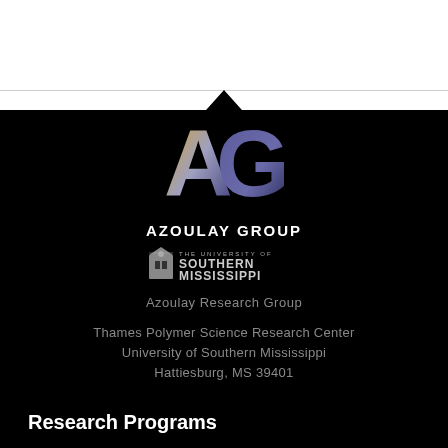[Figure (logo): AG Azoulay Group logo with gradient letters A and G in gold/silver/blue on black background, followed by University of Southern Mississippi logo]
Azoulay Research Group
Thames Polymer Science Research Center
University of Southern Mississippi
Hattiesburg, MS 39401
Research Programs